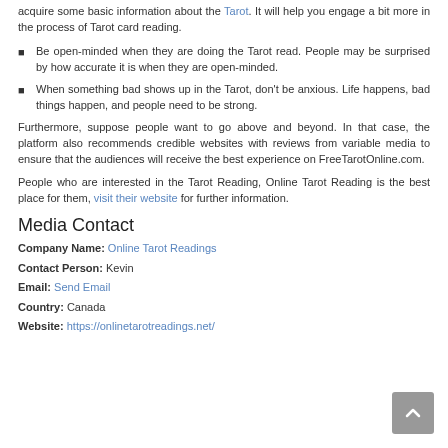acquire some basic information about the Tarot. It will help you engage a bit more in the process of Tarot card reading.
Be open-minded when they are doing the Tarot read. People may be surprised by how accurate it is when they are open-minded.
When something bad shows up in the Tarot, don't be anxious. Life happens, bad things happen, and people need to be strong.
Furthermore, suppose people want to go above and beyond. In that case, the platform also recommends credible websites with reviews from variable media to ensure that the audiences will receive the best experience on FreeTarotOnline.com.
People who are interested in the Tarot Reading, Online Tarot Reading is the best place for them, visit their website for further information.
Media Contact
Company Name: Online Tarot Readings
Contact Person: Kevin
Email: Send Email
Country: Canada
Website: https://onlinetarotreadings.net/